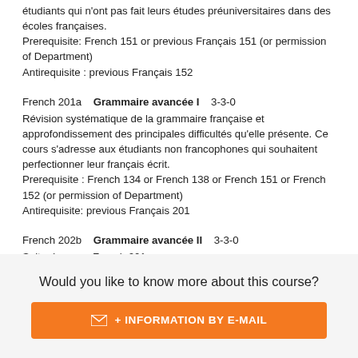étudiants qui n'ont pas fait leurs études préuniversitaires dans des écoles françaises.
Prerequisite: French 151 or previous Français 151 (or permission of Department)
Antirequisite : previous Français 152
French 201a   Grammaire avancée I   3-3-0
Révision systématique de la grammaire française et approfondissement des principales difficultés qu'elle présente. Ce cours s'adresse aux étudiants non francophones qui souhaitent perfectionner leur français écrit.
Prerequisite : French 134 or French 138 or French 151 or French 152 (or permission of Department)
Antirequisite: previous Français 201
French 202b   Grammaire avancée II   3-3-0
Suite du cours French 201a.
Prerequisite : French 201 or French 152 (or permission of
Would you like to know more about this course?
+ INFORMATION BY E-MAIL